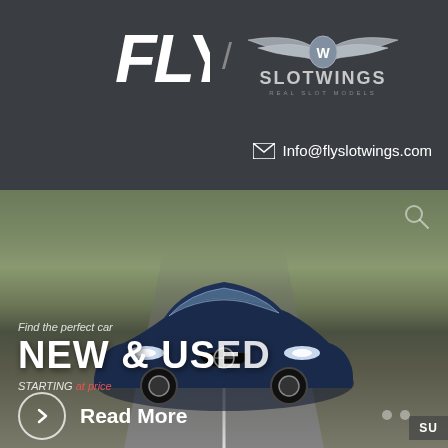[Figure (logo): FLY and SLOTWINGS brand logos on dark grey background]
✉ Info@flyslotwings.com
[Figure (photo): BMW blue sedan driving on a mountain road, motion-blurred background with green hills and winding road]
Find the perfect car
NEW & USED
STARTING at price
Read More
SU